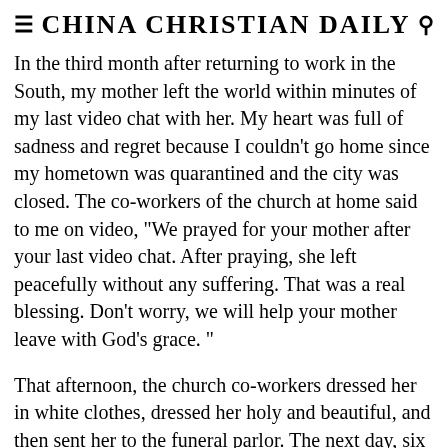CHINA CHRISTIAN DAILY
In the third month after returning to work in the South, my mother left the world within minutes of my last video chat with her. My heart was full of sadness and regret because I couldn't go home since my hometown was quarantined and the city was closed. The co-workers of the church at home said to me on video, "We prayed for your mother after your last video chat. After praying, she left peacefully without any suffering. That was a real blessing. Don't worry, we will help your mother leave with God's grace. "
That afternoon, the church co-workers dressed her in white clothes, dressed her holy and beautiful, and then sent her to the funeral parlor. The next day, six sisters from the church held a praise and memorial service in the Christian funeral parlor. Relatives on the scene also witnessed my